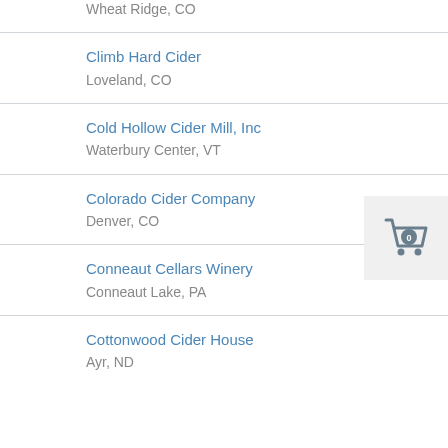Wheat Ridge, CO
Climb Hard Cider
Loveland, CO
Cold Hollow Cider Mill, Inc
Waterbury Center, VT
Colorado Cider Company
Denver, CO
Conneaut Cellars Winery
Conneaut Lake, PA
Cottonwood Cider House
Ayr, ND